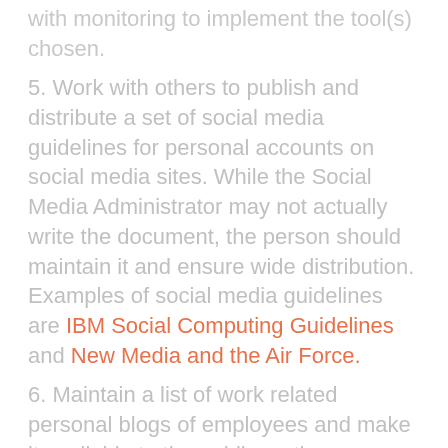with monitoring to implement the tool(s) chosen.
5. Work with others to publish and distribute a set of social media guidelines for personal accounts on social media sites. While the Social Media Administrator may not actually write the document, the person should maintain it and ensure wide distribution. Examples of social media guidelines are IBM Social Computing Guidelines and New Media and the Air Force.
6. Maintain a list of work related personal blogs of employees and make it available to the public on the company Web site. IBM does this really well.
(There are probably many things I am missing here...)
Where does the Social Media Administrator report?